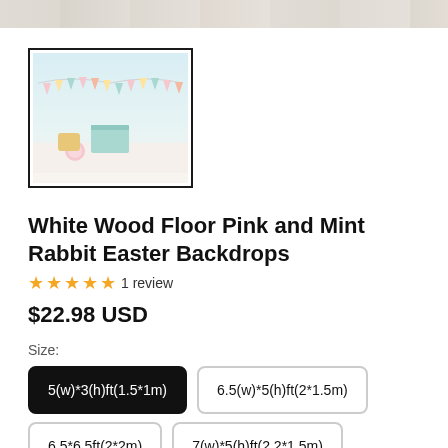[Figure (photo): Top strip showing white wood floor texture]
[Figure (photo): Thumbnail product image showing pastel bunting/banner decorations with mint, pink, and gold pennant flags in a party scene]
White Wood Floor Pink and Mint Rabbit Easter Backdrops
★★★★★ 1 review
$22.98 USD
Size:
5(w)*3(h)ft(1.5*1m) [selected]
6.5(w)*5(h)ft(2*1.5m)
6.5*6.5ft(2*2m)
7(w)*5(h)ft(2.2*1.5m)